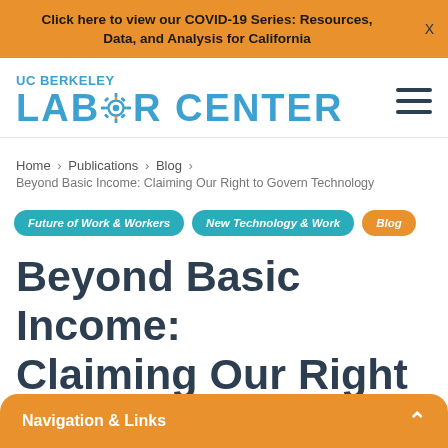Click here to view our COVID-19 Series: Resources, Data, and Analysis for California
[Figure (logo): UC Berkeley Labor Center logo with teal text and gear icon replacing the O in LABOR]
Home > Publications > Blog > Beyond Basic Income: Claiming Our Right to Govern Technology
Future of Work & Workers  New Technology & Work  Blog
Beyond Basic Income: Claiming Our Right to
Navigation & Links